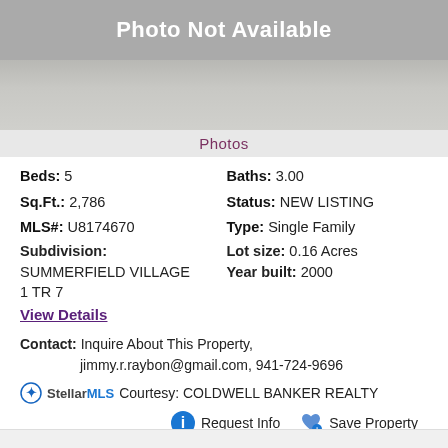[Figure (photo): Photo Not Available placeholder with gray blurred background image below]
Photos
Beds: 5    Baths: 3.00
Sq.Ft.: 2,786    Status: NEW LISTING
MLS#: U8174670    Type: Single Family
Subdivision:    Lot size: 0.16 Acres
SUMMERFIELD VILLAGE 1 TR 7    Year built: 2000
View Details
Contact: Inquire About This Property, jimmy.r.raybon@gmail.com, 941-724-9696
StellarMLS Courtesy: COLDWELL BANKER REALTY
Request Info    Save Property